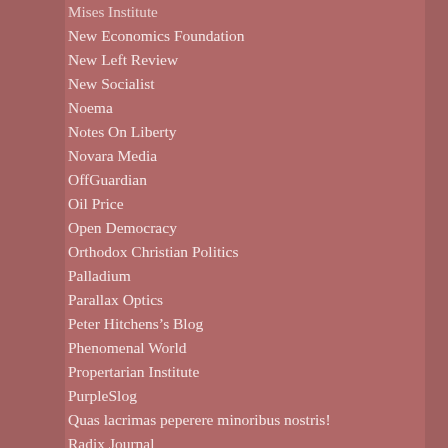Mises Institute
New Economics Foundation
New Left Review
New Socialist
Noema
Notes On Liberty
Novara Media
OffGuardian
Oil Price
Open Democracy
Orthodox Christian Politics
Palladium
Parallax Optics
Peter Hitchens's Blog
Phenomenal World
Propertarian Institute
PurpleSlog
Quas lacrimas peperere minoribus nostris!
Radix Journal
Reciprocal Contradiction